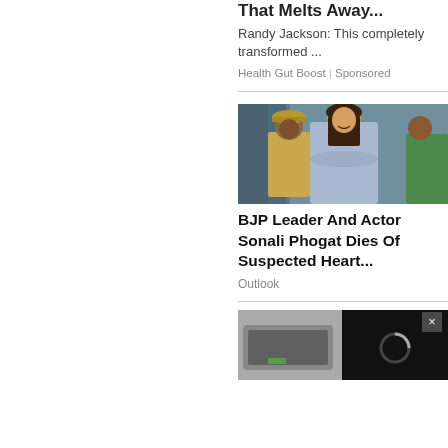That Melts Away...
Randy Jackson: This completely transformed ...
Health Gut Boost | Sponsored
[Figure (photo): BJP Leader and Actor Sonali Phogat with police personnel and others in background]
BJP Leader And Actor Sonali Phogat Dies Of Suspected Heart...
Outlook
[Figure (photo): Partial view of a device/gadget with a video player overlay showing loading spinner and a close button]